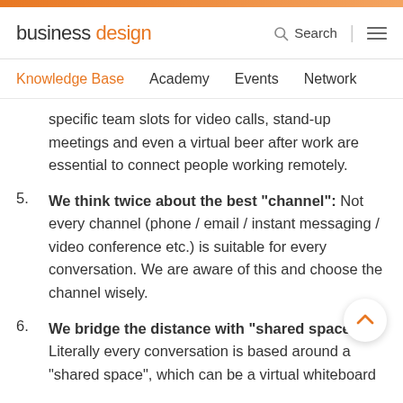business design — Search — Navigation menu
Knowledge Base   Academy   Events   Network
specific team slots for video calls, stand-up meetings and even a virtual beer after work are essential to connect people working remotely.
5. We think twice about the best "channel": Not every channel (phone / email / instant messaging / video conference etc.) is suitable for every conversation. We are aware of this and choose the channel wisely.
6. We bridge the distance with "shared spaces": Literally every conversation is based around a "shared space", which can be a virtual whiteboard